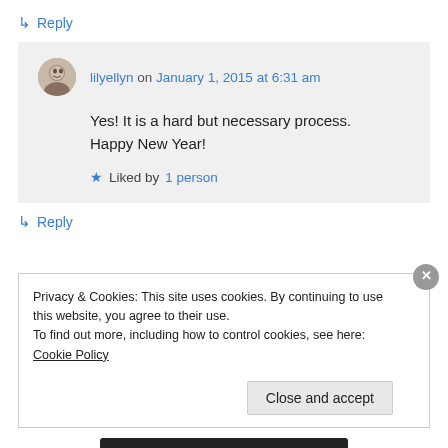↳ Reply
lilyellyn on January 1, 2015 at 6:31 am
Yes! It is a hard but necessary process. Happy New Year!
★ Liked by 1 person
↳ Reply
Privacy & Cookies: This site uses cookies. By continuing to use this website, you agree to their use. To find out more, including how to control cookies, see here: Cookie Policy
Close and accept